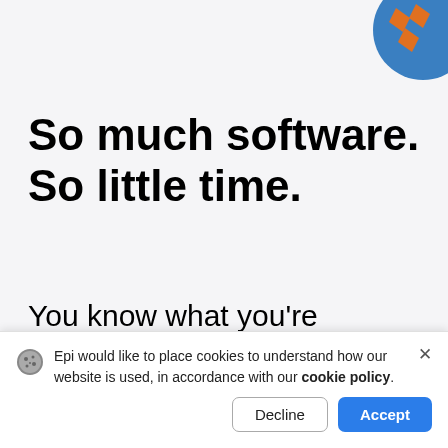[Figure (logo): Episerver/Epi logo: blue circle with orange puzzle-piece/rhombus shapes, partially cropped at top-right corner]
So much software. So little time.
You know what you're looking for, but often it's a hassle to get there. Your time is precious. In this age of apps
Epi would like to place cookies to understand how our website is used, in accordance with our cookie policy.